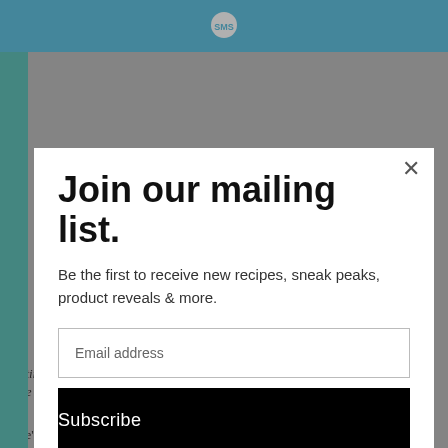[Figure (screenshot): Website screenshot showing a mailing list subscription modal popup over a blog page. The page has a blue header bar with an SMS logo, a teal left sidebar, and partially visible blog text content in the background. The modal contains a title, description text, email input field, and subscribe button.]
Join our mailing list.
Be the first to receive new recipes, sneak peaks, product reveals & more.
Email address
Subscribe
boating, fun, food and travel. Fun times, but so very glad to be back home!
Here’s little man in his boating gear. Thanks for your